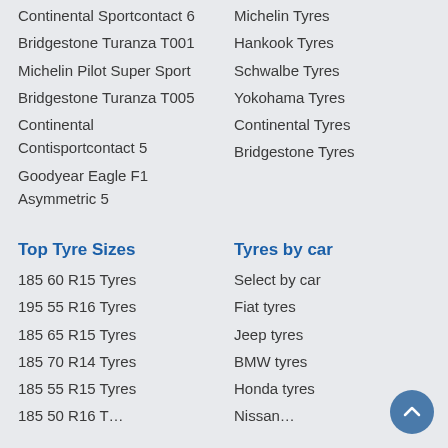Continental Sportcontact 6
Michelin Tyres
Bridgestone Turanza T001
Hankook Tyres
Michelin Pilot Super Sport
Schwalbe Tyres
Bridgestone Turanza T005
Yokohama Tyres
Continental Contisportcontact 5
Continental Tyres
Goodyear Eagle F1 Asymmetric 5
Bridgestone Tyres
Top Tyre Sizes
Tyres by car
185 60 R15 Tyres
Select by car
195 55 R16 Tyres
Fiat tyres
185 65 R15 Tyres
Jeep tyres
185 70 R14 Tyres
BMW tyres
185 55 R15 Tyres
Honda tyres
185 50 R16 T…
Nissan…